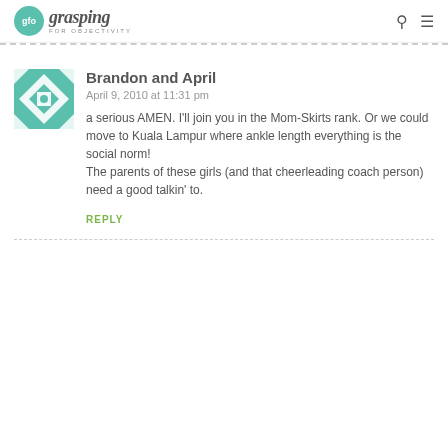gfo grasping FOR OBJECTIVITY
Brandon and April
April 9, 2010 at 11:31 pm
a serious AMEN. I'll join you in the Mom-Skirts rank. Or we could move to Kuala Lampur where ankle length everything is the social norm!
The parents of these girls (and that cheerleading coach person) need a good talkin' to.
REPLY